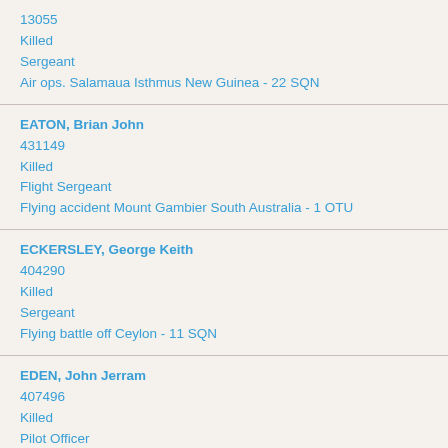13055
Killed
Sergeant
Air ops. Salamaua Isthmus New Guinea - 22 SQN
EATON, Brian John
431149
Killed
Flight Sergeant
Flying accident Mount Gambier South Australia - 1 OTU
ECKERSLEY, George Keith
404290
Killed
Sergeant
Flying battle off Ceylon - 11 SQN
EDEN, John Jerram
407496
Killed
Pilot Officer
Flying battle Burma - RAF O/S